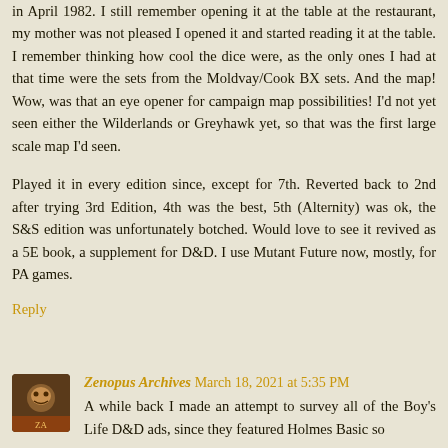in April 1982. I still remember opening it at the table at the restaurant, my mother was not pleased I opened it and started reading it at the table. I remember thinking how cool the dice were, as the only ones I had at that time were the sets from the Moldvay/Cook BX sets. And the map! Wow, was that an eye opener for campaign map possibilities! I'd not yet seen either the Wilderlands or Greyhawk yet, so that was the first large scale map I'd seen.
Played it in every edition since, except for 7th. Reverted back to 2nd after trying 3rd Edition, 4th was the best, 5th (Alternity) was ok, the S&S edition was unfortunately botched. Would love to see it revived as a 5E book, a supplement for D&D. I use Mutant Future now, mostly, for PA games.
Reply
Zenopus Archives March 18, 2021 at 5:35 PM
A while back I made an attempt to survey all of the Boy's Life D&D ads, since they featured Holmes Basic so